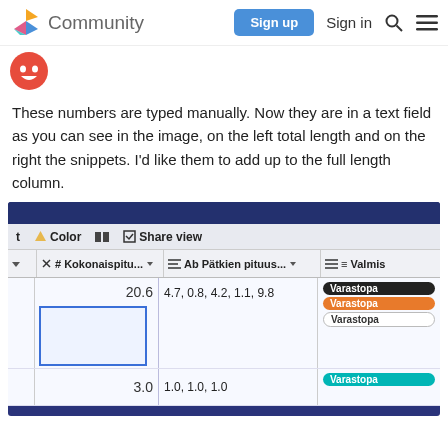Community  Sign up  Sign in
[Figure (screenshot): Avatar/profile icon: red circle with smiling face]
These numbers are typed manually. Now they are in a text field as you can see in the image, on the left total length and on the right the snippets. I'd like them to add up to the full length column.
[Figure (screenshot): Screenshot of a spreadsheet/database interface showing columns: Kokonaispitu..., Pätkien pituus..., Valmis. Row 1 has value 20.6 and '4.7, 0.8, 4.2, 1.1, 9.8' with tags 'Varastopa'. Row 2 has value 3.0 and '1.0, 1.0, 1.0' with tags 'Varastopa'. A blue selection box is visible around an empty cell under 20.6.]